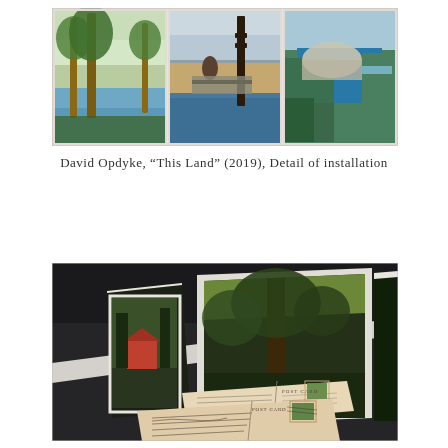[Figure (photo): A horizontal strip showing three vintage postcards side by side: left card shows a lakeside scene with tall trees and blue water; middle card shows a dam or industrial water structure on rocky terrain; right card shows an aerial view of a waterway or canal with infrastructure.]
David Opdyke, “This Land” (2019), Detail of installation
[Figure (photo): A photograph of a dark surface (table or floor) showing vintage postcards and post cards arranged at angles, some open to display landscape scenes with trees and a red building. In the foreground are two handwritten vintage postcards with stamps, one showing 'POST CARD' printed on it.]